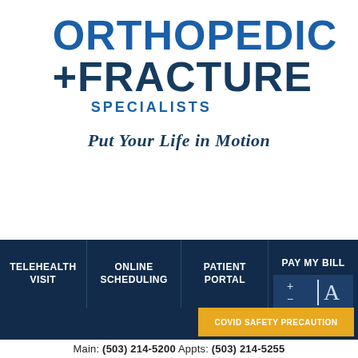[Figure (logo): Orthopedic + Fracture Specialists logo with tagline 'Put Your Life in Motion']
TELEHEALTH VISIT | ONLINE SCHEDULING | PATIENT PORTAL | PAY MY BILL
COVID SAFETY PRECAUTION
Main: (503) 214-5200  Appts: (503) 214-5255